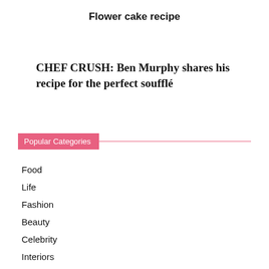Flower cake recipe
CHEF CRUSH: Ben Murphy shares his recipe for the perfect soufflé
Popular Categories
Food
Life
Fashion
Beauty
Celebrity
Interiors